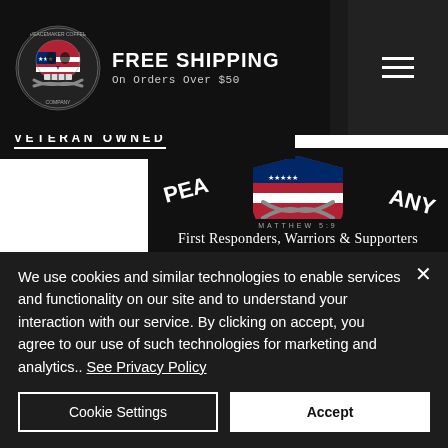[Figure (logo): Peacemaker Coffee Company circular logo with American flag skull and crossed revolvers]
FREE SHIPPING
On Orders Over $50
First Responders, Warriors & Supporters
VETERAN OWNED
[Figure (logo): Large Peacemaker Coffee Company shield logo with American flag, crossed revolvers, PEA...ANY text visible on sides, MATTHEW 5:9 tagline, First Responders Warriors & Supporters]
We use cookies and similar technologies to enable services and functionality on our site and to understand your interaction with our service. By clicking on accept, you agree to our use of such technologies for marketing and analytics.. See Privacy Policy
Cookie Settings
Accept